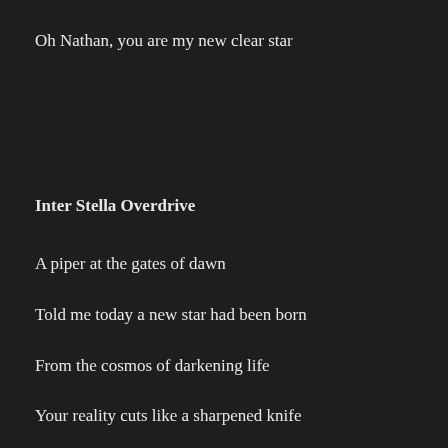Oh Nathan, you are my new clear star
Inter Stella Overdrive
A piper at the gates of dawn
Told me today a new star had been born
From the cosmos of darkening life
Your reality cuts like a sharpened knife